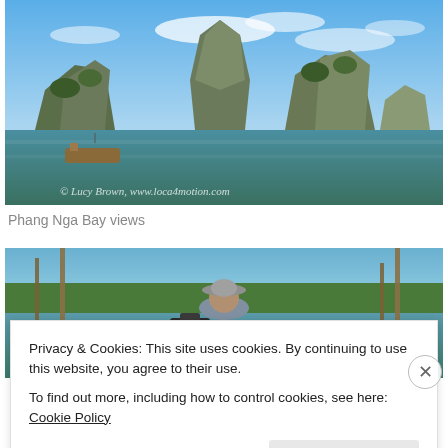[Figure (photo): Phang Nga Bay scenic photo showing limestone karst islands rising from calm green water, boats visible, blue sky with clouds. Watermark: © Lucy Brown, www.loca4motion.com]
Phang Nga Bay views
[Figure (photo): Second photo showing a person in a hat on a boat moving through water, with bamboo structures visible, green landscape and more limestone islands in background.]
Privacy & Cookies: This site uses cookies. By continuing to use this website, you agree to their use.
To find out more, including how to control cookies, see here: Cookie Policy
Close and accept